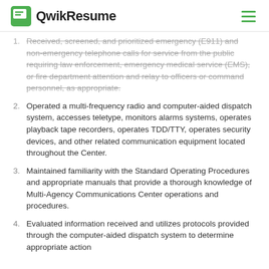QwikResume
Received, screened, and prioritized emergency (E911) and non-emergency telephone calls for service from the public requiring law enforcement, emergency medical service (EMS), or fire department attention and relay to officers or command personnel, as appropriate.
Operated a multi-frequency radio and computer-aided dispatch system, accesses teletype, monitors alarms systems, operates playback tape recorders, operates TDD/TTY, operates security devices, and other related communication equipment located throughout the Center.
Maintained familiarity with the Standard Operating Procedures and appropriate manuals that provide a thorough knowledge of Multi-Agency Communications Center operations and procedures.
Evaluated information received and utilizes protocols provided through the computer-aided dispatch system to determine appropriate action...